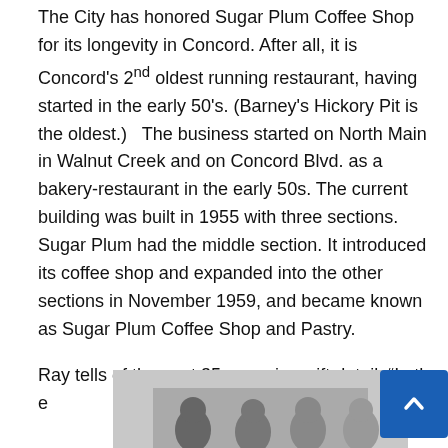The City has honored Sugar Plum Coffee Shop for its longevity in Concord. After all, it is Concord's 2nd oldest running restaurant, having started in the early 50's. (Barney's Hickory Pit is the oldest.)   The business started on North Main in Walnut Creek and on Concord Blvd. as a bakery-restaurant in the early 50s. The current building was built in 1955 with three sections.  Sugar Plum had the middle section. It introduced its coffee shop and expanded into the other sections in November 1959, and became known as Sugar Plum Coffee Shop and Pastry.
Ray tells of the next 35 years in swift detail. “In the
[Figure (photo): Black and white photograph of a group of people, partially visible at the bottom of the page.]